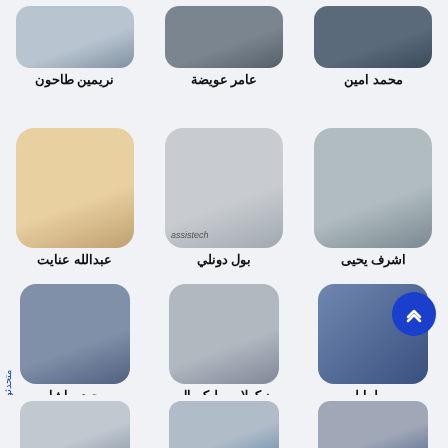[Figure (photo): Photo of نريمين طاحون]
نريمين طاحون
[Figure (photo): Photo of عامر عويضة]
عامر عويضة
[Figure (photo): Photo of محمد امين]
محمد امين
[Figure (photo): Photo of عبدالله عنايت]
عبدالله عنايت
[Figure (photo): Photo of بول دونلي]
بول دونلي
[Figure (photo): Photo of اشرف يحيى]
اشرف يحيى
[Figure (photo): Photo of حيدر باشا]
حيدر باشا
[Figure (photo): Photo of نيكولاس بليكسال]
نيكولاس بليكسال
[Figure (photo): Photo of طرابلسي]
طرابلسي
[Figure (photo): Photo row 4 left]
[Figure (photo): Photo row 4 center]
[Figure (photo): Photo row 4 right]